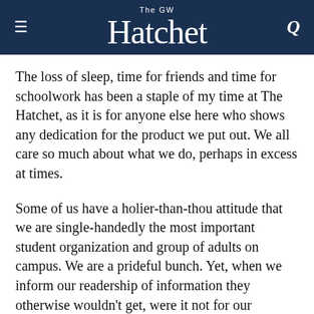The GW Hatchet
The loss of sleep, time for friends and time for schoolwork has been a staple of my time at The Hatchet, as it is for anyone else here who shows any dedication for the product we put out. We all care so much about what we do, perhaps in excess at times.
Some of us have a holier-than-thou attitude that we are single-handedly the most important student organization and group of adults on campus. We are a prideful bunch. Yet, when we inform our readership of information they otherwise wouldn't get, were it not for our reporting, then we have done our job. When we